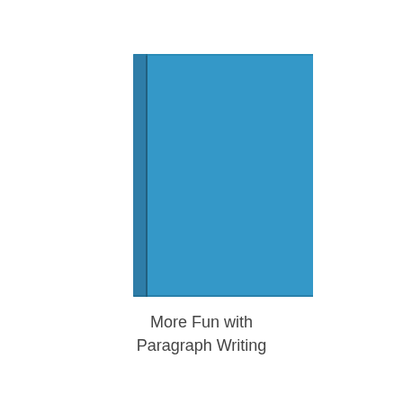[Figure (illustration): A plain blue hardcover book shown from a slight angle, with a darker blue spine visible on the left side. The cover is a solid medium-blue color with no text or imagery on it.]
More Fun with Paragraph Writing